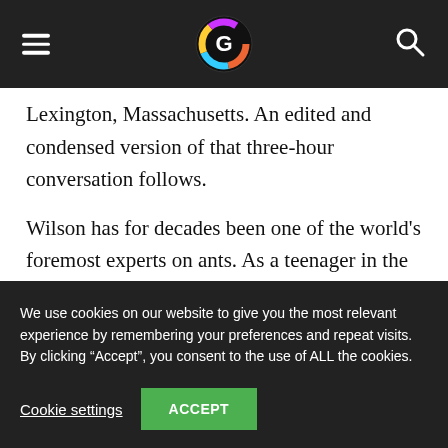[Navigation header with hamburger menu, globe logo, and search icon]
Lexington, Massachusetts. An edited and condensed version of that three-hour conversation follows.
Wilson has for decades been one of the world's foremost experts on ants. As a teenager in the 1940s, he identified and classified every species of ant in his home state, Alabama.
We use cookies on our website to give you the most relevant experience by remembering your preferences and repeat visits. By clicking “Accept”, you consent to the use of ALL the cookies.